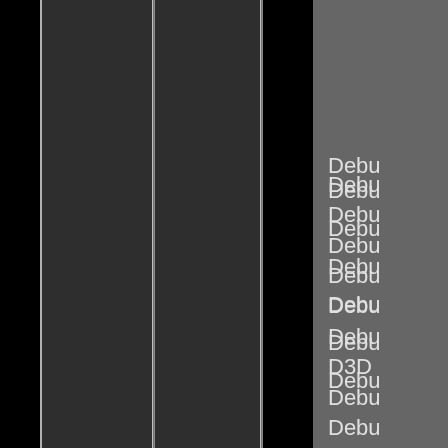[Figure (screenshot): Dark UI screenshot showing vertical column panels with dark gray and black stripes, and partially visible text labels on the right side reading 'Debu', 'Debu', 'Debu', 'Debu', 'Debu', 'Debu', 'D3D', 'Debu', 'Debu', 'Debu', 'Debu', 'Debu', 'Debu', 'Debu', 'Debu', 'modu' — these appear to be truncated debug/module menu items in a software interface.]